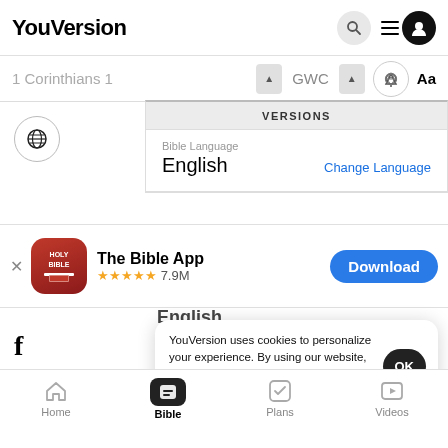YouVersion
1 Corinthians 1  GWC
VERSIONS
Bible Language
English
Change Language
The Bible App ★★★★★ 7.9M
Download
English
YouVersion uses cookies to personalize your experience. By using our website, you accept our use of cookies as described in our Privacy Policy.
OK
Home  Bible  Plans  Videos